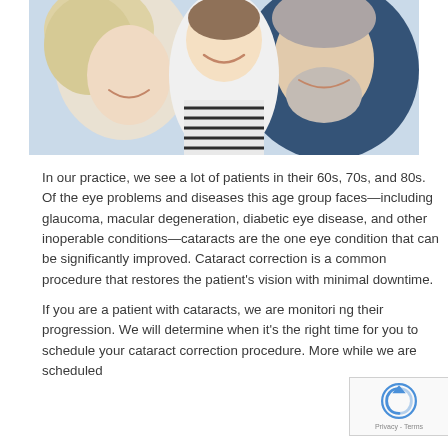[Figure (photo): Photograph of two grandparents (elderly woman with blonde hair on left, elderly man with grey beard on right) smiling and hugging a young boy in a striped shirt who is grinning between them.]
In our practice, we see a lot of patients in their 60s, 70s, and 80s. Of the eye problems and diseases this age group faces—including glaucoma, macular degeneration, diabetic eye disease, and other inoperable conditions—cataracts are the one eye condition that can be significantly improved. Cataract correction is a common procedure that restores the patient's vision with minimal downtime.
If you are a patient with cataracts, we are monitoring their progression. We will determine when it's the right time for you to schedule your cataract correction procedure. More while we are scheduled